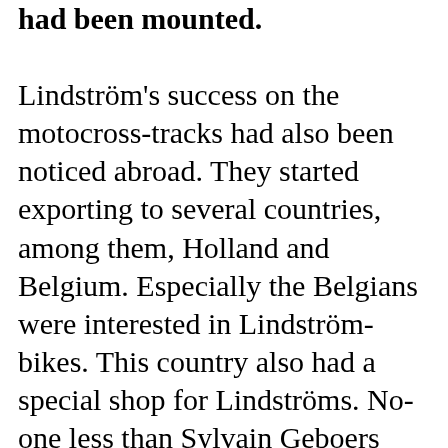had been mounted. Lindström's success on the motocross-tracks had also been noticed abroad. They started exporting to several countries, among them, Holland and Belgium. Especially the Belgians were interested in Lindström-bikes. This country also had a special shop for Lindströms. No-one less than Sylvain Geboers rode Lindströms for a while and the bikes soon became very popular abroad. The work-principle at Lindströms' was simple but very effective. First, Ronnie rode some minor races at home to try the new parts, maybe this was the most important of all. If the parts worked, they were mounted on the bikes of the "big" riders the next week. Lindströms worked like this during all of